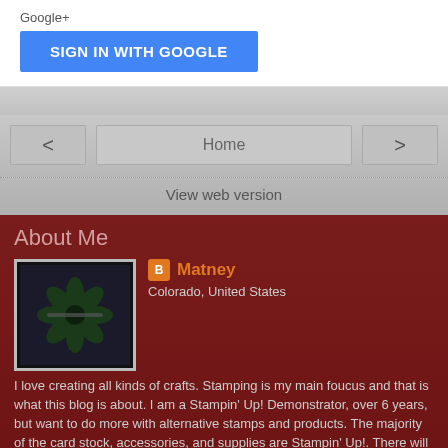[Figure (screenshot): SIGN IN WITH GOOGLE blue button]
[Figure (screenshot): Navigation bar with left arrow, Home button, right arrow]
View web version
About Me
[Figure (photo): Profile photo showing a dark blue flower stamp craft on white background]
Matney
Colorado, United States
I love creating all kinds of crafts. Stamping is my main foucus and that is what this blog is about. I am a Stampin' Up! Demonstrator, over 6 years, but want to do more with alternative stamps and products. The majority of the card stock, accessories, and supplies are Stampin' Up!. There will be scrapbooking, cards, and projects...but with a dark side. So enjoy, have fun, and go create!
View my complete profile